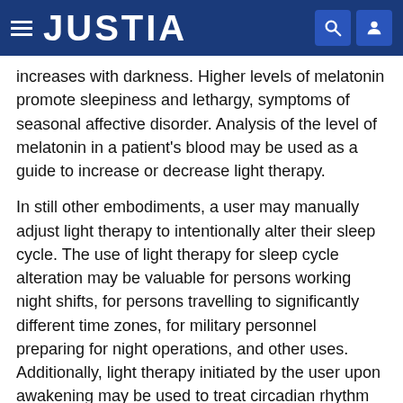JUSTIA
increases with darkness. Higher levels of melatonin promote sleepiness and lethargy, symptoms of seasonal affective disorder. Analysis of the level of melatonin in a patient's blood may be used as a guide to increase or decrease light therapy.
In still other embodiments, a user may manually adjust light therapy to intentionally alter their sleep cycle. The use of light therapy for sleep cycle alteration may be valuable for persons working night shifts, for persons travelling to significantly different time zones, for military personnel preparing for night operations, and other uses. Additionally, light therapy initiated by the user upon awakening may be used to treat circadian rhythm disorders such as delayed sleep phase syndrome (DSPS) and non-24-hour sleep-wake syndrome.